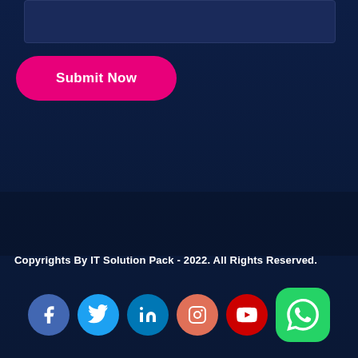[Figure (screenshot): Dark navy text input area / textarea box at top of page]
Submit Now
Copyrights By IT Solution Pack - 2022. All Rights Reserved.
[Figure (illustration): Row of social media icon circles: Facebook, Twitter, LinkedIn, Instagram, YouTube, and WhatsApp rounded square icon]